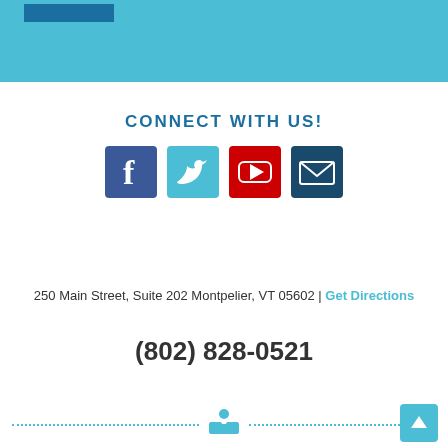[Figure (illustration): Light blue header banner with a small dark blue rectangle in upper left]
CONNECT WITH US!
[Figure (illustration): Row of four social media icons: Facebook (dark blue), Twitter (light blue), YouTube (red), Email/envelope (dark blue)]
250 Main Street, Suite 202 Montpelier, VT 05602 | Get Directions
(802) 828-0521
[Figure (illustration): Horizontal dotted teal line divider with a person reading book icon in the center]
[Figure (illustration): Teal back-to-top button with upward arrow in bottom right corner]